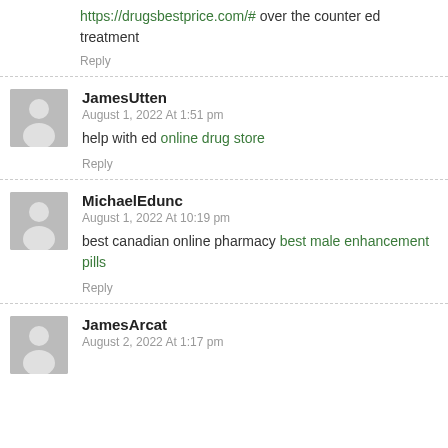https://drugsbestprice.com/# over the counter ed treatment
Reply
JamesUtten
August 1, 2022 At 1:51 pm
help with ed online drug store
Reply
MichaelEdunc
August 1, 2022 At 10:19 pm
best canadian online pharmacy best male enhancement pills
Reply
JamesArcat
August 2, 2022 At 1:17 pm